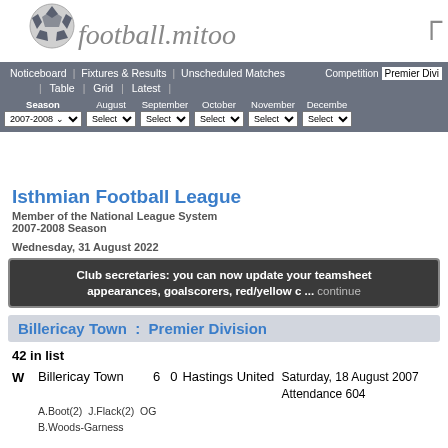[Figure (logo): football.mitoo website logo with soccer ball icon]
Noticeboard | Fixtures & Results | Unscheduled Matches | Table | Grid | Latest | Competition: Premier Division
Season 2007-2008 | August Select | September Select | October Select | November Select | December Select
Isthmian Football League
Member of the National League System
2007-2008 Season
Wednesday, 31 August 2022
Club secretaries: you can now update your teamsheet appearances, goalscorers, red/yellow c ... continue
Billericay Town : Premier Division
42 in list
W Billericay Town 6 0 Hastings United Saturday, 18 August 2007 Attendance 604
A.Boot(2) J.Flack(2) OG B.Woods-Garness